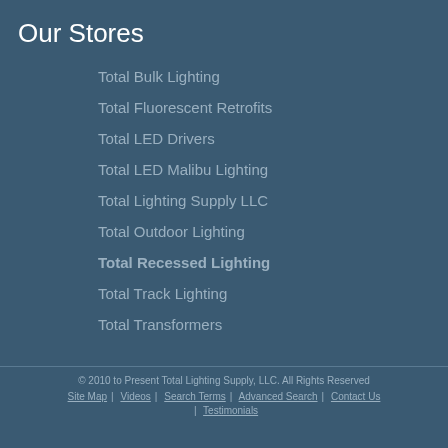Our Stores
Total Bulk Lighting
Total Fluorescent Retrofits
Total LED Drivers
Total LED Malibu Lighting
Total Lighting Supply LLC
Total Outdoor Lighting
Total Recessed Lighting
Total Track Lighting
Total Transformers
© 2010 to Present Total Lighting Supply, LLC. All Rights Reserved | Site Map | Videos | Search Terms | Advanced Search | Contact Us | Testimonials